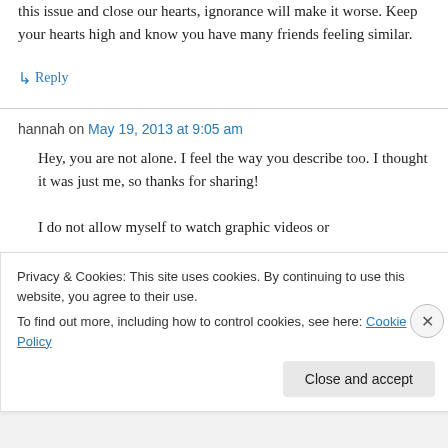this issue and close our hearts, ignorance will make it worse. Keep your hearts high and know you have many friends feeling similar.
↳ Reply
hannah on May 19, 2013 at 9:05 am
Hey, you are not alone. I feel the way you describe too. I thought it was just me, so thanks for sharing!
I do not allow myself to watch graphic videos or
Privacy & Cookies: This site uses cookies. By continuing to use this website, you agree to their use.
To find out more, including how to control cookies, see here: Cookie Policy
Close and accept